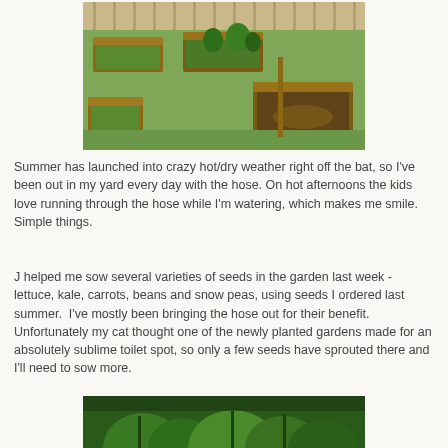[Figure (photo): Photograph of a backyard garden with several raised wooden garden beds on a grassy lawn, with a wooden fence in the background.]
Summer has launched into crazy hot/dry weather right off the bat, so I've been out in my yard every day with the hose. On hot afternoons the kids love running through the hose while I'm watering, which makes me smile. Simple things.
J helped me sow several varieties of seeds in the garden last week - lettuce, kale, carrots, beans and snow peas, using seeds I ordered last summer.  I've mostly been bringing the hose out for their benefit. Unfortunately my cat thought one of the newly planted gardens made for an absolutely sublime toilet spot, so only a few seeds have sprouted there and I'll need to sow more.
[Figure (photo): Photograph showing green leafy plants growing in a garden bed, partially visible at the bottom of the page.]